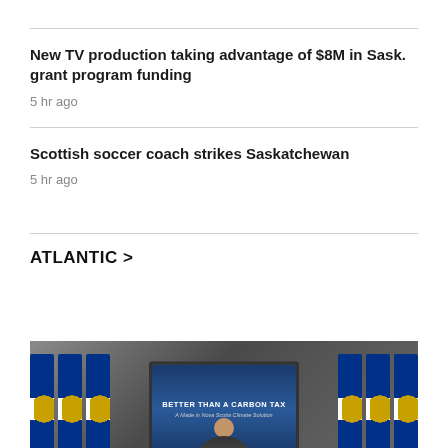New TV production taking advantage of $8M in Sask. grant program funding
5 hr ago
Scottish soccer coach strikes Saskatchewan
5 hr ago
ATLANTIC >
[Figure (photo): Press conference with Nova Scotia flags and a screen showing 'BETTER THAN A CARBON TAX - A Made in Nova Scotia Climate Solution']